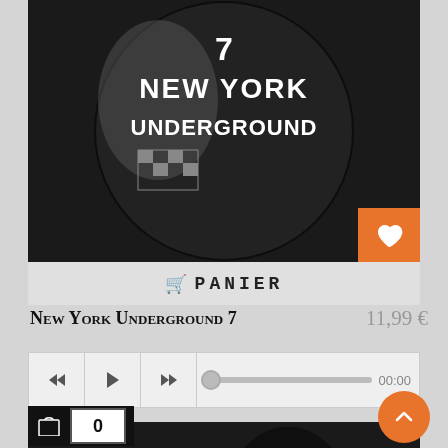[Figure (photo): Black and white circular album cover showing 'NEW YORK UNDERGROUND 7' text with a person and checkered pattern, displayed on an e-commerce product card. An orange wishlist heart button is in the bottom-right corner of the image.]
🛒 PANIER
New York Underground 7
11,99 €
[Figure (other): Audio player control bar with rewind, play, fast-forward buttons and a progress slider showing 00:00]
[Figure (photo): Partial view of another album cover at the bottom of the page (black and white circular image)]
0